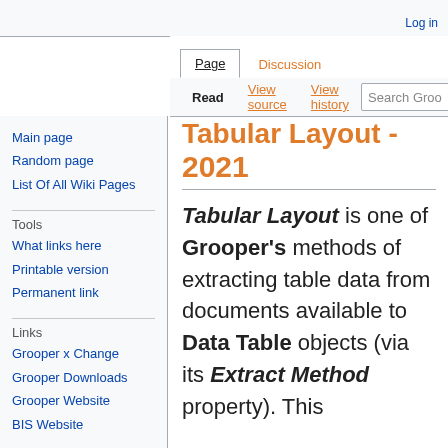Log in
Page | Discussion | Read | View source | View history | Search Groo
Main page
Random page
List Of All Wiki Pages
Tools
What links here
Printable version
Permanent link
Links
Grooper x Change
Grooper Downloads
Grooper Website
BIS Website
Tabular Layout - 2021
Tabular Layout is one of Grooper's methods of extracting table data from documents available to Data Table objects (via its Extract Method property). This